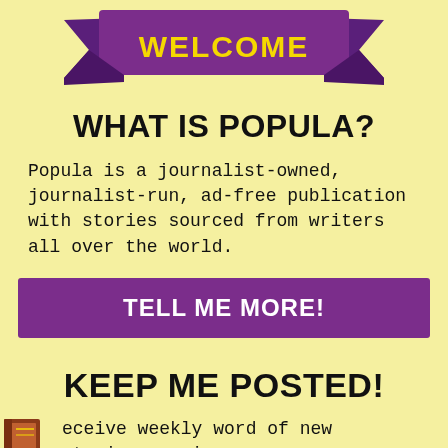[Figure (illustration): Purple ribbon banner with yellow text 'WELCOME' in bold, centered at top of page]
WHAT IS POPULA?
Popula is a journalist-owned, journalist-run, ad-free publication with stories sourced from writers all over the world.
TELL ME MORE!
KEEP ME POSTED!
eceive weekly word of new stories, comics,